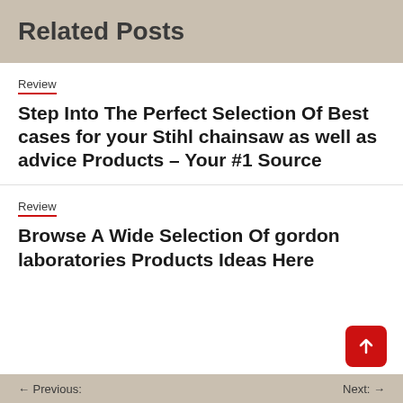Related Posts
Review
Step Into The Perfect Selection Of Best cases for your Stihl chainsaw as well as advice Products – Your #1 Source
Review
Browse A Wide Selection Of gordon laboratories Products Ideas Here
← Previous:   Next: →